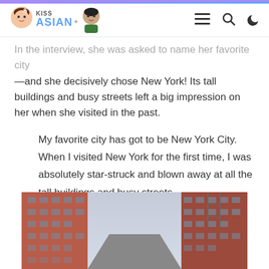KISS ASIAN
In the interview, she was asked to name her favorite city —and she decisively chose New York! Its tall buildings and busy streets left a big impression on her when she visited in the past.
My favorite city has got to be New York City. When I visited New York for the first time, I was absolutely star-struck and blown away at all the tall buildings and busy streets.

— Rosé
[Figure (photo): Street-level view looking up between tall red-brick New York City buildings toward a grey-blue sky]